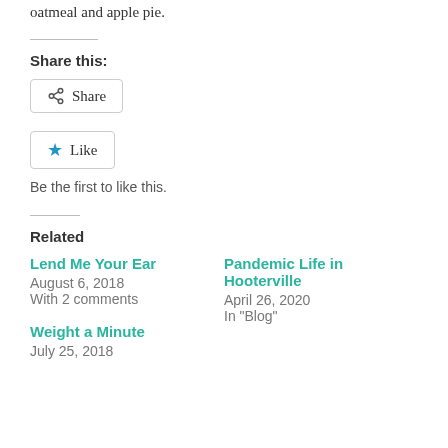oatmeal and apple pie.
Share this:
Share
Like
Be the first to like this.
Related
Lend Me Your Ear
August 6, 2018
With 2 comments
Pandemic Life in Hooterville
April 26, 2020
In "Blog"
Weight a Minute
July 25, 2018